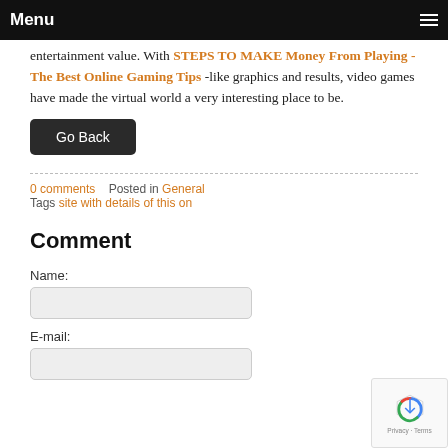Menu
entertainment value. With STEPS TO MAKE Money From Playing - The Best Online Gaming Tips -like graphics and results, video games have made the virtual world a very interesting place to be.
Go Back
0 comments   Posted in General
Tags site with details of this on
Comment
Name:
E-mail: